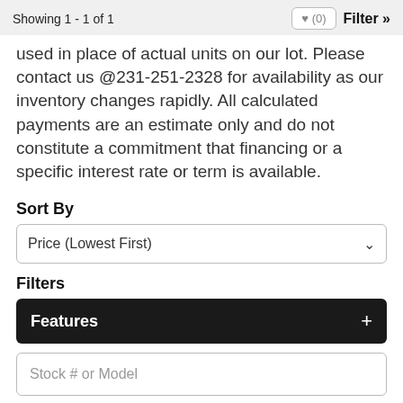Showing 1 - 1 of 1
used in place of actual units on our lot. Please contact us @231-251-2328 for availability as our inventory changes rapidly. All calculated payments are an estimate only and do not constitute a commitment that financing or a specific interest rate or term is available.
Sort By
Price (Lowest First)
Filters
Features +
Stock # or Model
Search